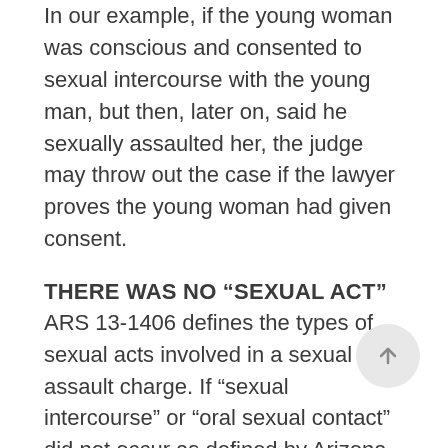In our example, if the young woman was conscious and consented to sexual intercourse with the young man, but then, later on, said he sexually assaulted her, the judge may throw out the case if the lawyer proves the young woman had given consent.
THERE WAS NO “SEXUAL ACT”
ARS 13-1406 defines the types of sexual acts involved in a sexual assault charge. If “sexual intercourse” or “oral sexual contact” did not occur as defined by Arizona law, then a judge may drop the charges.
BAD EVIDENCE OR WITNESS TESTIMONY